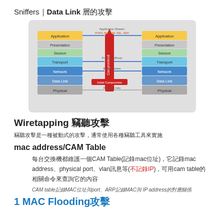Sniffers｜Data Link 層的攻擊
[Figure (illustration): OSI model diagram showing two stacks (Application, Presentation, Session, Transport, Network, Data Link, Physical) with arrows indicating Application Stream (POP3, IMAP, IM, SSL, SSH), Protocols/Ports, IP Addresses, Initial Compromise, and Physical Info. A red vertical arrow labeled 'Compromised' runs through the middle.]
Wiretapping 竊聽攻擊
竊聽攻擊是一種被動式的攻擊，通常使用各種竊聽工具來實施
mac address/CAM Table
每台交換機都維護一個CAM Table(記錄mac位址)，它記錄mac address、physical port、vlan訊息等(不記錄IP)，可用cam table的相關命令來查詢它的內容
CAM table記錄MAC位址與port、ARP記錄MAC與 IP address的對應關係
1 MAC Flooding攻擊